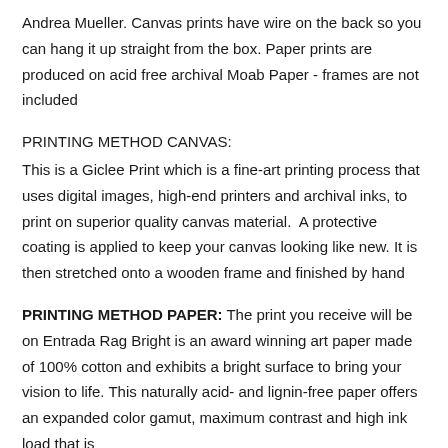Andrea Mueller. Canvas prints have wire on the back so you can hang it up straight from the box. Paper prints are produced on acid free archival Moab Paper - frames are not included
PRINTING METHOD CANVAS:
This is a Giclee Print which is a fine-art printing process that uses digital images, high-end printers and archival inks, to print on superior quality canvas material.  A protective coating is applied to keep your canvas looking like new. It is then stretched onto a wooden frame and finished by hand
PRINTING METHOD PAPER: The print you receive will be on Entrada Rag Bright is an award winning art paper made of 100% cotton and exhibits a bright surface to bring your vision to life. This naturally acid- and lignin-free paper offers an expanded color gamut, maximum contrast and high ink load that is